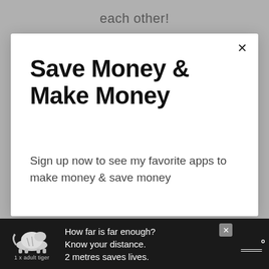each other!
Save Money & Make Money
Sign up now to see my favorite apps to make money & save money
Email address
Get It Now
WHAT'S NEXT → DIY Dollar Tree Spice Rack...
[Figure (screenshot): Advertisement bar at bottom: tiger illustration with '1 x adult tiger' label, text 'How far is far enough? Know your distance. 2 metres saves lives.', close button, and logo marks]